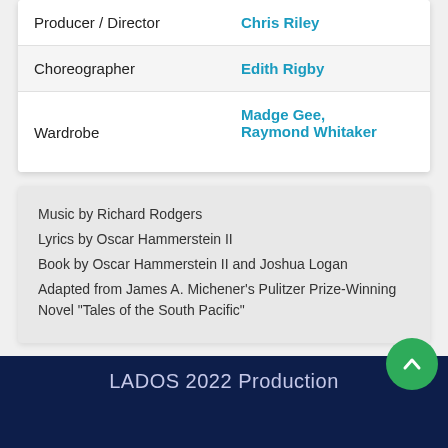| Role | Name |
| --- | --- |
| Producer / Director | Chris Riley |
| Choreographer | Edith Rigby |
| Wardrobe | Madge Gee, Raymond Whitaker |
Music by Richard Rodgers
Lyrics by Oscar Hammerstein II
Book by Oscar Hammerstein II and Joshua Logan
Adapted from James A. Michener's Pulitzer Prize-Winning Novel "Tales of the South Pacific"
Back to Our Productions
LADOS 2022 Production